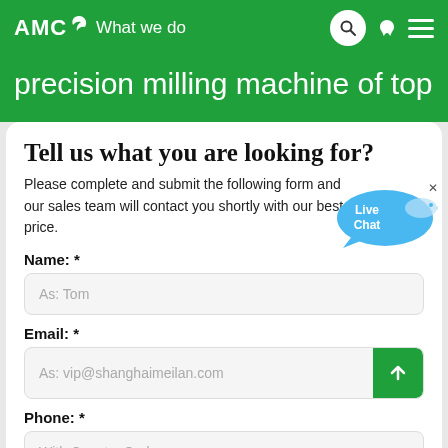AMC What we do
precision milling machine of top
Tell us what you are looking for?
Please complete and submit the following form and our sales team will contact you shortly with our best price.
Name: *
As: Tom
Email: *
As: vip@shanghaimeilan.com
Phone: *
With Country Code
A number of items sold